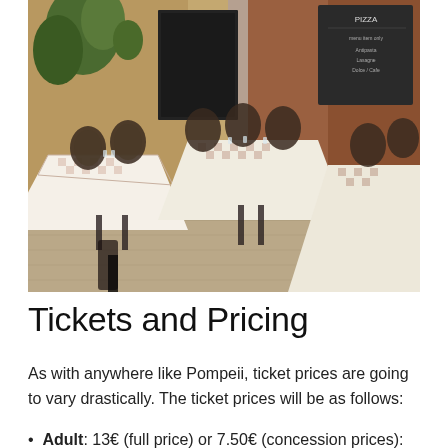[Figure (photo): Outdoor Italian restaurant terrace with tables covered in white and checkered tablecloths, wooden bistro chairs, and plants in the background. A chalkboard menu is visible in the upper right.]
Tickets and Pricing
As with anywhere like Pompeii, ticket prices are going to vary drastically. The ticket prices will be as follows:
Adult: 13€ (full price) or 7.50€ (concession prices):